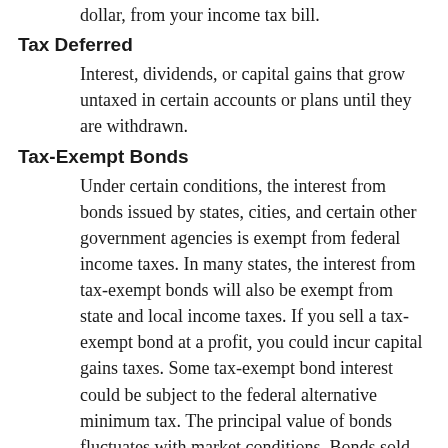dollar, from your income tax bill.
Tax Deferred
Interest, dividends, or capital gains that grow untaxed in certain accounts or plans until they are withdrawn.
Tax-Exempt Bonds
Under certain conditions, the interest from bonds issued by states, cities, and certain other government agencies is exempt from federal income taxes. In many states, the interest from tax-exempt bonds will also be exempt from state and local income taxes. If you sell a tax-exempt bond at a profit, you could incur capital gains taxes. Some tax-exempt bond interest could be subject to the federal alternative minimum tax. The principal value of bonds fluctuates with market conditions. Bonds sold prior to maturity may be worth more or less than their original